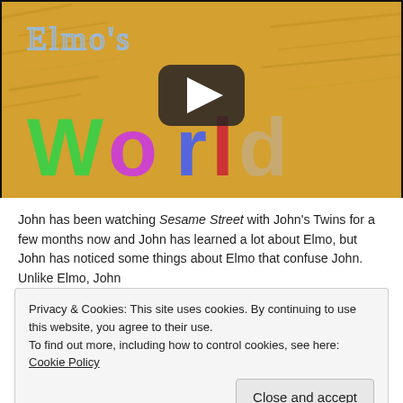[Figure (screenshot): Video thumbnail for Elmo's World with a YouTube-style play button overlay. Shows colorful crayon-styled letters spelling 'World' on a golden/yellow background, with 'Elmo's' written above in chalk-like letters.]
John has been watching Sesame Street with John's Twins for a few months now and John has learned a lot about Elmo, but John has noticed some things about Elmo that confuse John. Unlike Elmo, John
Privacy & Cookies: This site uses cookies. By continuing to use this website, you agree to their use.
To find out more, including how to control cookies, see here: Cookie Policy
Close and accept
Then, suddenly, John had a spectacular idea–John should write Elmo